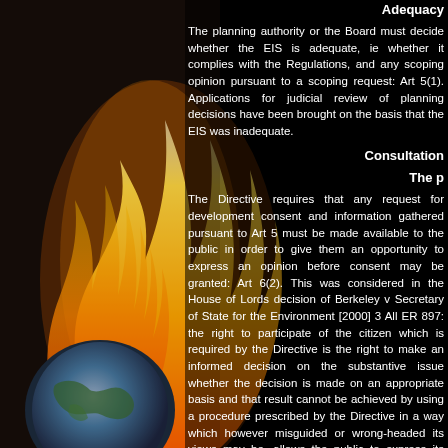[Figure (photo): Background image showing a burning globe (Earth with fire/flames) against a dark/black background, occupying the left portion of the page.]
Adequacy
The planning authority or the Board must decide whether the EIS is adequate, ie whether it complies with the Regulations, and any scoping opinion pursuant to a scoping request: Art 5(1). Applications for judicial review of planning decisions have been brought on the basis that the EIS was inadequate.
Consultation
The p
The Directive requires that any request for development consent and information gathered pursuant to Art 5 must be made available to the public in order to give them an opportunity to express an opinion before consent may be granted: Art 6(2). This was considered in the House of Lords decision of Berkeley v Secretary of State for the Environment [2000] 3 All ER 897: the right to participate of the citizen which is required by the Directive is the right to make an informed decision on the substantive issue whether the decision is made on an appropriate basis and that result cannot be achieved by using a procedure prescribed by the Directive in a way which however misguided or wrong-headed its views may be, allows the public to express its opinion on the environmental issues.
The newspaper notice, which must be published before the date of the application, must also state that an EIS has been submitted to the authority and that it will be available for inspection/purchase at a reasonable fee: Art 98, 2001 Regulations. No newspaper notice is requires an EIS for subthreshold de...